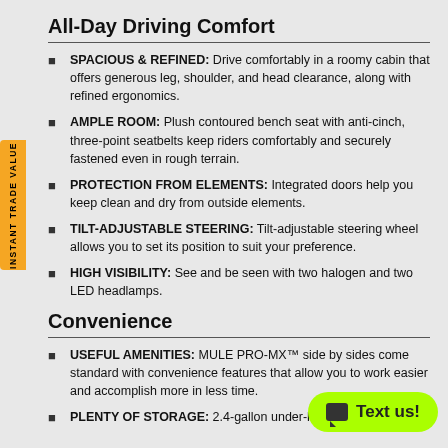All-Day Driving Comfort
SPACIOUS & REFINED: Drive comfortably in a roomy cabin that offers generous leg, shoulder, and head clearance, along with refined ergonomics.
AMPLE ROOM: Plush contoured bench seat with anti-cinch, three-point seatbelts keep riders comfortably and securely fastened even in rough terrain.
PROTECTION FROM ELEMENTS: Integrated doors help you keep clean and dry from outside elements.
TILT-ADJUSTABLE STEERING: Tilt-adjustable steering wheel allows you to set its position to suit your preference.
HIGH VISIBILITY: See and be seen with two halogen and two LED headlamps.
Convenience
USEFUL AMENITIES: MULE PRO-MX™ side by sides come standard with convenience features that allow you to work easier and accomplish more in less time.
PLENTY OF STORAGE: 2.4-gallon under-hood storage, 1.4-gallon…